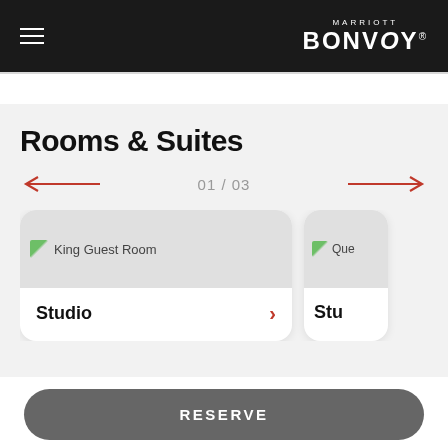Marriott Bonvoy
Rooms & Suites
01 / 03
[Figure (screenshot): King Guest Room card with Studio label and red chevron arrow]
[Figure (screenshot): Partial Queen room card with Studio label (partially visible)]
RESERVE